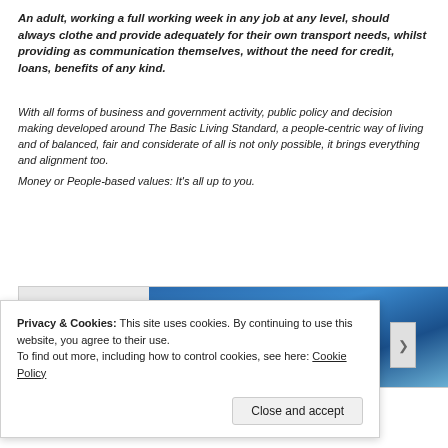An adult, working a full working week in any job at any level, should always clothe and provide adequately for their own transport needs, whilst providing as communication themselves, without the need for credit, loans, benefits of any kind.
With all forms of business and government activity, public policy and decision making developed around The Basic Living Standard, a people-centric way of living and of balanced, fair and considerate of all is not only possible, it brings everything and alignment too.
Money or People-based values: It's all up to you.
[Figure (photo): Partial view of a blue sky photograph, partially obscured by a cookie consent banner overlay.]
Privacy & Cookies: This site uses cookies. By continuing to use this website, you agree to their use. To find out more, including how to control cookies, see here: Cookie Policy
Close and accept